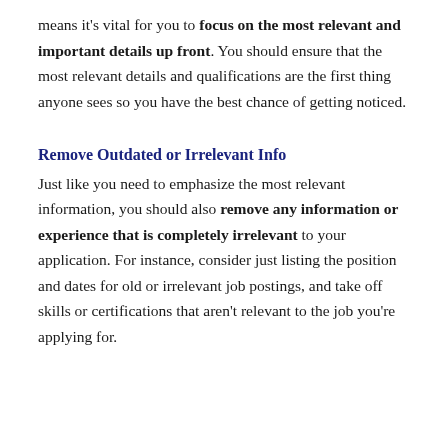means it's vital for you to focus on the most relevant and important details up front. You should ensure that the most relevant details and qualifications are the first thing anyone sees so you have the best chance of getting noticed.
Remove Outdated or Irrelevant Info
Just like you need to emphasize the most relevant information, you should also remove any information or experience that is completely irrelevant to your application. For instance, consider just listing the position and dates for old or irrelevant job postings, and take off skills or certifications that aren't relevant to the job you're applying for.